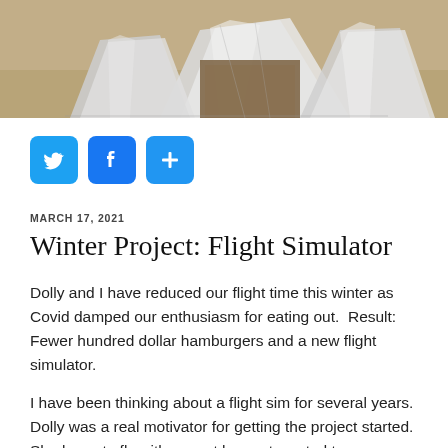[Figure (photo): Photograph showing metallic/silver reflective material (possibly insulation or foil panels) against a sandy or earthy background]
[Figure (infographic): Social media share buttons: Twitter (blue bird icon), Facebook (blue f icon), and a blue plus/share icon]
MARCH 17, 2021
Winter Project: Flight Simulator
Dolly and I have reduced our flight time this winter as Covid damped our enthusiasm for eating out.  Result: Fewer hundred dollar hamburgers and a new flight simulator.
I have been thinking about a flight sim for several years.  Dolly was a real motivator for getting the project started.  She loves to fly with me yet has not wanted to